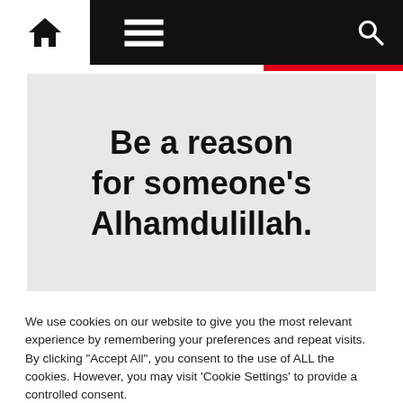Navigation bar with home icon, menu icon, and search icon
[Figure (illustration): Light grey image card with bold text: 'Be a reason for someone's Alhamdulillah.']
We use cookies on our website to give you the most relevant experience by remembering your preferences and repeat visits. By clicking "Accept All", you consent to the use of ALL the cookies. However, you may visit 'Cookie Settings' to provide a controlled consent.
Cookie Settings
Accept All